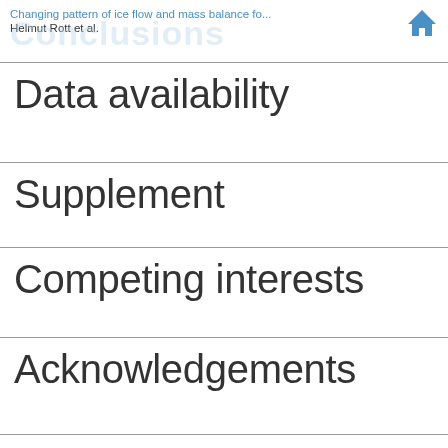Changing pattern of ice flow and mass balance fo...
Helmut Rott et al.
Data availability
Supplement
Competing interests
Acknowledgements